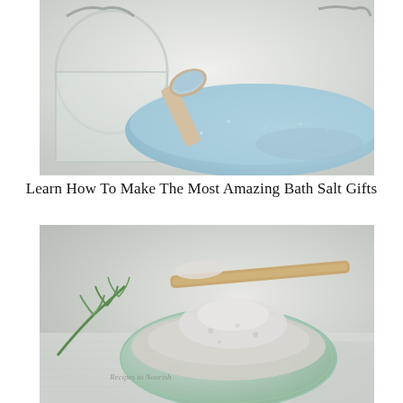[Figure (photo): A wooden scoop filled with light blue bath salts spilling out of a glass jar onto a white surface]
Learn How To Make The Most Amazing Bath Salt Gifts
[Figure (photo): A glass bowl filled with white/grey bath salts with a wooden flat scoop resting on top, a sprig of green rosemary beside it on a white cloth, watermark reads Recipes to Nourish]